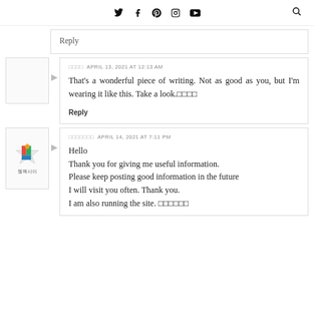Social media icons: Twitter, Facebook, Pinterest, Instagram, YouTube, Search
Reply (partial, cut off)
□□□□  APRIL 13, 2021 AT 12:13 AM
That's a wonderful piece of writing. Not as good as you, but I'm wearing it like this. Take a look.□□□□
Reply
□□□□□□□  APRIL 14, 2021 AT 7:11 PM
Hello
Thank you for giving me useful information.
Please keep posting good information in the future
I will visit you often. Thank you.
I am also running the site. □□□□□□